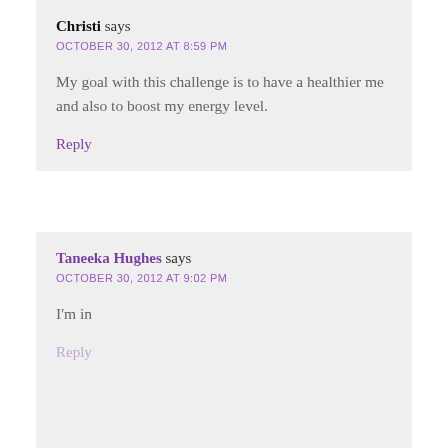Christi says
OCTOBER 30, 2012 AT 8:59 PM
My goal with this challenge is to have a healthier me and also to boost my energy level.
Reply
Taneeka Hughes says
OCTOBER 30, 2012 AT 9:02 PM
I'm in
Reply